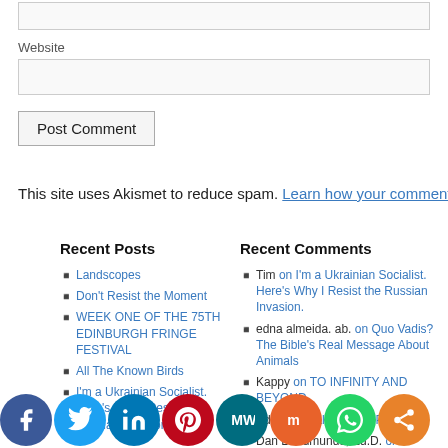Website
Post Comment
This site uses Akismet to reduce spam. Learn how your comment d…
Recent Posts
Landscopes
Don't Resist the Moment
WEEK ONE OF THE 75TH EDINBURGH FRINGE FESTIVAL
All The Known Birds
I'm a Ukrainian Socialist. Here's Why I Resist the Russian Invasion.
Recent Comments
Tim on I'm a Ukrainian Socialist. Here's Why I Resist the Russian Invasion.
edna almeida. ab. on Quo Vadis? The Bible's Real Message About Animals
Kappy on TO INFINITY AND BEYOND
Editor on Salford Mad Pride
Dan L. Edmunds, Ed.D. on Salford…